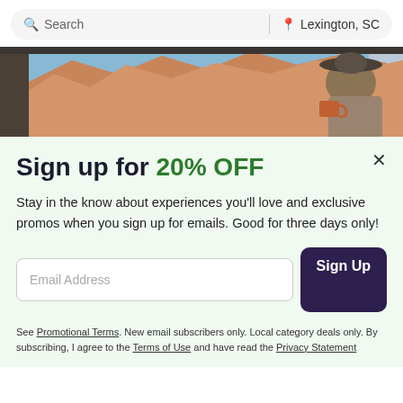[Figure (screenshot): Search bar with 'Search' on left and 'Lexington, SC' location on right, styled as a rounded pill input field]
[Figure (photo): Outdoor desert landscape photo visible through a vehicle window, with a woman wearing a hat holding a mug]
Sign up for 20% OFF
Stay in the know about experiences you'll love and exclusive promos when you sign up for emails. Good for three days only!
Email Address
Sign Up
See Promotional Terms. New email subscribers only. Local category deals only. By subscribing, I agree to the Terms of Use and have read the Privacy Statement